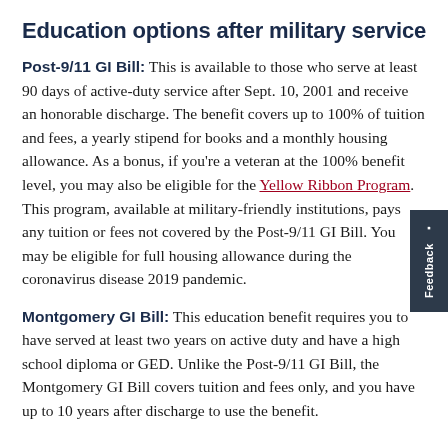Education options after military service
Post-9/11 GI Bill: This is available to those who serve at least 90 days of active-duty service after Sept. 10, 2001 and receive an honorable discharge. The benefit covers up to 100% of tuition and fees, a yearly stipend for books and a monthly housing allowance. As a bonus, if you're a veteran at the 100% benefit level, you may also be eligible for the Yellow Ribbon Program. This program, available at military-friendly institutions, pays any tuition or fees not covered by the Post-9/11 GI Bill. You may be eligible for full housing allowance during the coronavirus disease 2019 pandemic.
Montgomery GI Bill: This education benefit requires you to have served at least two years on active duty and have a high school diploma or GED. Unlike the Post-9/11 GI Bill, the Montgomery GI Bill covers tuition and fees only, and you have up to 10 years after discharge to use the benefit.